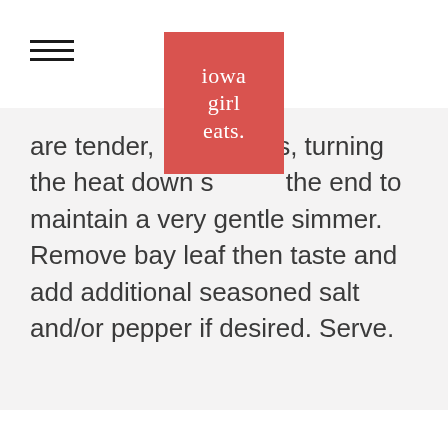[Figure (logo): Iowa Girl Eats logo — red/salmon rectangle with white serif text reading 'iowa girl eats.']
are tender, [logo overlaps], es, turning the heat down s[lightly toward] the end to maintain a very gentle simmer. Remove bay leaf then taste and add additional seasoned salt and/or pepper if desired. Serve.